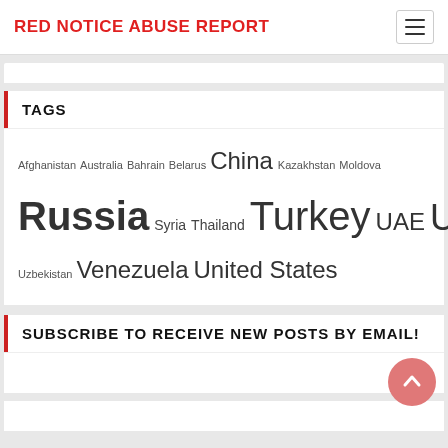RED NOTICE ABUSE REPORT
TAGS
Afghanistan Australia Bahrain Belarus China Kazakhstan Moldova Russia Syria Thailand Turkey UAE Ukraine Uzbekistan Venezuela United States
SUBSCRIBE TO RECEIVE NEW POSTS BY EMAIL!